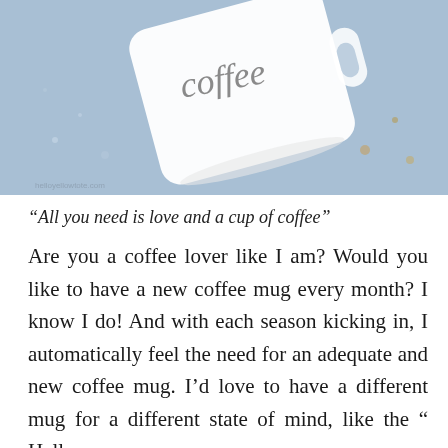[Figure (photo): Close-up photo of a white ceramic coffee mug with cursive script on it, photographed from above at an angle against a blurred blue background with light speckles.]
“All you need is love and a cup of coffee”
Are you a coffee lover like I am? Would you like to have a new coffee mug every month? I know I do! And with each season kicking in, I automatically feel the need for an adequate and new coffee mug. I’d love to have a different mug for a different state of mind, like the “ Hello